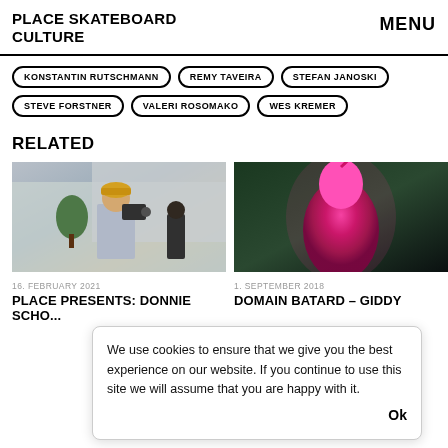PLACE SKATEBOARD CULTURE
MENU
KONSTANTIN RUTSCHMANN
REMY TAVEIRA
STEFAN JANOSKI
STEVE FORSTNER
VALERI ROSOMAKO
WES KREMER
RELATED
[Figure (photo): Person filming with camera outdoors near modern building, wearing yellow cap and grey t-shirt]
16. FEBRUARY 2021
Place Presents: Donnie Scho...
[Figure (photo): Person in pink/magenta full-body covering under green-tinted dramatic lighting]
1. SEPTEMBER 2018
DOMAIN BATARD – GIDDY
We use cookies to ensure that we give you the best experience on our website. If you continue to use this site we will assume that you are happy with it. Ok